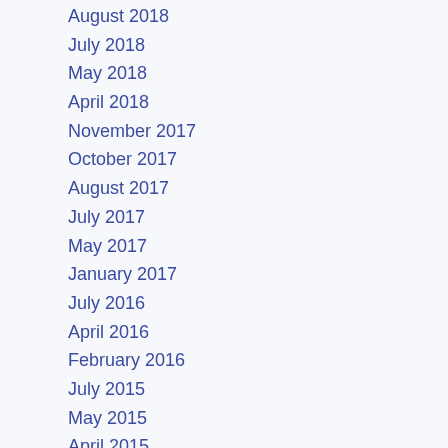August 2018
July 2018
May 2018
April 2018
November 2017
October 2017
August 2017
July 2017
May 2017
January 2017
July 2016
April 2016
February 2016
July 2015
May 2015
April 2015
March 2015